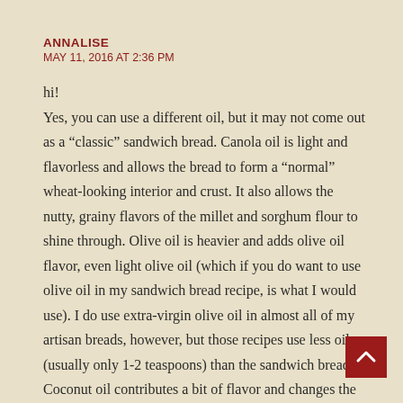ANNALISE
MAY 11, 2016 AT 2:36 PM
hi!
Yes, you can use a different oil, but it may not come out as a “classic” sandwich bread. Canola oil is light and flavorless and allows the bread to form a “normal” wheat-looking interior and crust. It also allows the nutty, grainy flavors of the millet and sorghum flour to shine through. Olive oil is heavier and adds olive oil flavor, even light olive oil (which if you do want to use olive oil in my sandwich bread recipe, is what I would use). I do use extra-virgin olive oil in almost all of my artisan breads, however, but those recipes use less oil (usually only 1-2 teaspoons) than the sandwich breads. Coconut oil contributes a bit of flavor and changes the texture and appearance. Grapeseed oil would be my second choice if you don’t want to use canola; it will allow you to create a